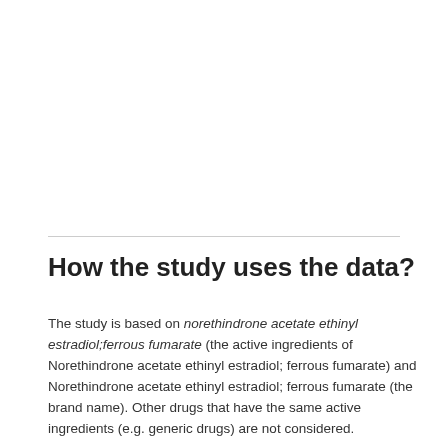How the study uses the data?
The study is based on norethindrone acetate ethinyl estradiol;ferrous fumarate (the active ingredients of Norethindrone acetate ethinyl estradiol; ferrous fumarate) and Norethindrone acetate ethinyl estradiol; ferrous fumarate (the brand name). Other drugs that have the same active ingredients (e.g. generic drugs) are not considered.